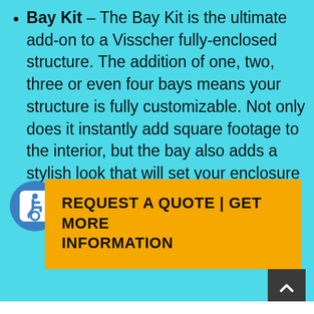Bay Kit – The Bay Kit is the ultimate add-on to a Visscher fully-enclosed structure. The addition of one, two, three or even four bays means your structure is fully customizable. Not only does it instantly add square footage to the interior, but the bay also adds a stylish look that will set your enclosure apart from the neighbourhood
[Figure (illustration): Accessibility/wheelchair icon: blue circle with white rounded square containing blue wheelchair user symbol]
REQUEST A QUOTE | GET MORE INFORMATION